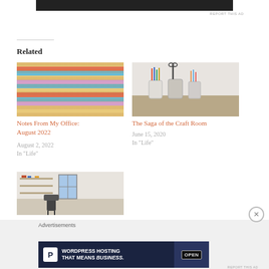[Figure (screenshot): Dark banner advertisement at top of page]
REPORT THIS AD
Related
[Figure (photo): Close-up photo of colorful striped crochet blanket or garment in rainbow colors]
Notes From My Office: August 2022
August 2, 2022
In "Life"
[Figure (photo): Photo of a craft desk with pencil holders, scissors, markers, and craft supplies]
The Saga of the Craft Room
June 15, 2020
In "Life"
[Figure (photo): Photo of a craft room interior with shelves and a window]
Advertisements
[Figure (screenshot): WordPress Hosting advertisement banner: 'WORDPRESS HOSTING THAT MEANS BUSINESS.' with P logo and OPEN sign image]